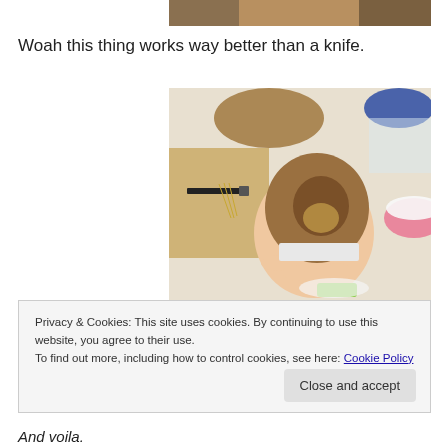[Figure (photo): Partial view of a baking photo, top strip]
Woah this thing works way better than a knife.
[Figure (photo): Hand holding a hollowed-out cupcake/muffin with a green tool visible, kitchen baking setup with knife, whisk, bowl of frosting in background]
Privacy & Cookies: This site uses cookies. By continuing to use this website, you agree to their use.
To find out more, including how to control cookies, see here: Cookie Policy
And voila.